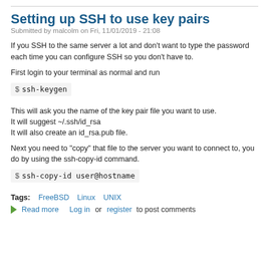Setting up SSH to use key pairs
Submitted by malcolm on Fri, 11/01/2019 - 21:08
If you SSH to the same server a lot and don't want to type the password each time you can configure SSH so you don't have to.
First login to your terminal as normal and run
$ ssh-keygen
This will ask you the name of the key pair file you want to use.
It will suggest ~/.ssh/id_rsa
It will also create an id_rsa.pub file.
Next you need to "copy" that file to the server you want to connect to, you do by using the ssh-copy-id command.
$ ssh-copy-id user@hostname
Tags: FreeBSD Linux UNIX
Read more  Log in or  register to post comments